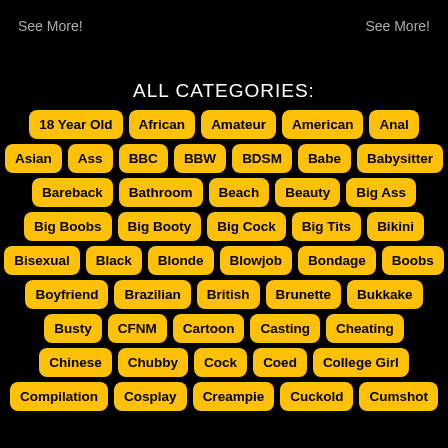See More!   See More!
ALL CATEGORIES:
18 Year Old
African
Amateur
American
Anal
Asian
Ass
BBC
BBW
BDSM
Babe
Babysitter
Bareback
Bathroom
Beach
Beauty
Big Ass
Big Boobs
Big Booty
Big Cock
Big Tits
Bikini
Bisexual
Black
Blonde
Blowjob
Bondage
Boobs
Boyfriend
Brazilian
British
Brunette
Bukkake
Busty
CFNM
Cartoon
Casting
Cheating
Chinese
Chubby
Cock
Coed
College Girl
Compilation
Cosplay
Creampie
Cuckold
Cumshot